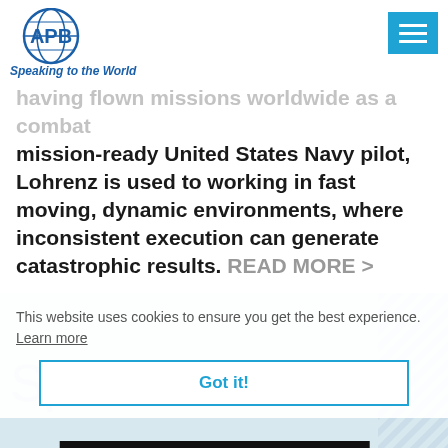[Figure (logo): APB Speaking to the World logo with globe icon]
having flown missions worldwide as a combat mission-ready United States Navy pilot, Lohrenz is used to working in fast moving, dynamic environments, where inconsistent execution can generate catastrophic results. READ MORE >
This website uses cookies to ensure you get the best experience. Learn more
Speaker VideoS
Got it!
[Figure (screenshot): Video thumbnail showing APB logo and title 'Carey Lohrenz: Facing E']